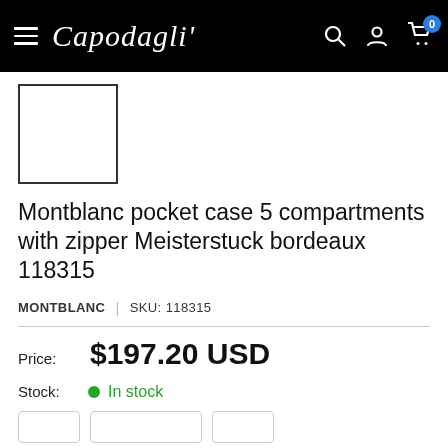Capodag li' — navigation bar with hamburger menu, search, account, and cart icons (0 items)
[Figure (photo): Small white product thumbnail image placeholder with black border]
Montblanc pocket case 5 compartments with zipper Meisterstuck bordeaux 118315
MONTBLANC | SKU: 118315
Price: $197.20 USD
Stock: In stock